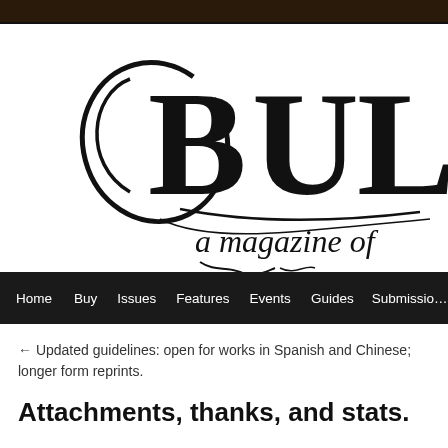[Figure (logo): Bull magazine logo — large gothic/blackletter text reading 'BULL' with a circular swirl, and subtitle text 'a magazine of' in italic serif. Black on white, heavily textured/distressed style.]
Home  Buy  Issues  Features  Events  Guides  Submissions
← Updated guidelines: open for works in Spanish and Chinese; longer form reprints.
Attachments, thanks, and stats.